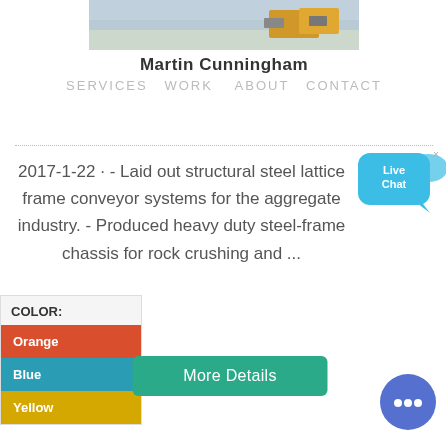[Figure (photo): Aerial photo of snow-covered ground with heavy machinery/trucks]
Martin Cunningham
SERVICES   WORK   ABOUT   CONTACT
2017-1-22 · - Laid out structural steel lattice frame conveyor systems for the aggregate industry. - Produced heavy duty steel-frame chassis for rock crushing and ...
[Figure (other): Live Chat bubble widget]
COLOR:
Orange
Blue
Yellow
More Details
[Figure (other): Chat icon circle button with three dots]